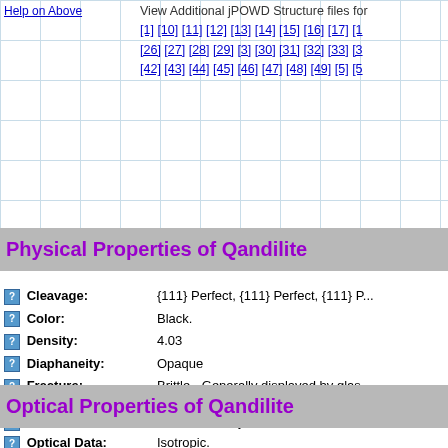Help on Above
View Additional jPOWD Structure files for [1] [10] [11] [12] [13] [14] [15] [16] [17] [1 [26] [27] [28] [29] [3] [30] [31] [32] [33] [3 [42] [43] [44] [45] [46] [47] [48] [49] [5] [5
Physical Properties of Qandilite
| Property | Value |
| --- | --- |
| Cleavage: | {111} Perfect, {111} Perfect, {111} P... |
| Color: | Black. |
| Density: | 4.03 |
| Diaphaneity: | Opaque |
| Fracture: | Brittle - Generally displayed by glas... minerals. |
| Habit: | Octahedral Crystals - Occurs as oc... |
| Hardness: | 7 - Quartz |
| Luster: | Metallic |
| Magnetism: | Strongly magnetic |
| Streak: | black |
Optical Properties of Qandilite
| Property | Value |
| --- | --- |
| Optical Data: | Isotropic. |